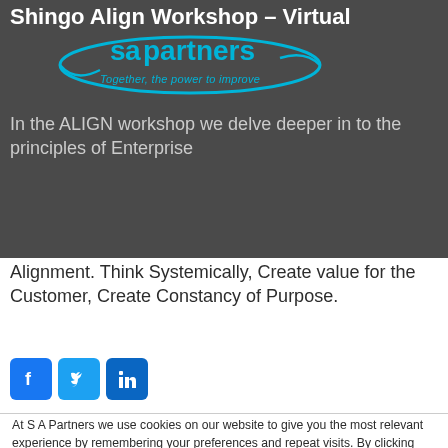[Figure (logo): SA Partners logo with cyan ellipse swoosh, text 'sa partners' in cyan, tagline 'Together, the power to improve']
Shingo Align Workshop – Virtual
In the ALIGN workshop we delve deeper in to the principles of Enterprise Alignment. Think Systemically, Create value for the Customer, Create Constancy of Purpose.
[Figure (other): Social media icons: Facebook, Twitter, LinkedIn]
At S A Partners we use cookies on our website to give you the most relevant experience by remembering your preferences and repeat visits. By clicking "Accept All", you consent to the use of ALL the cookies. However, you may visit "Cookie Settings" to provide a controlled consent.
Cookie Settings | Accept All